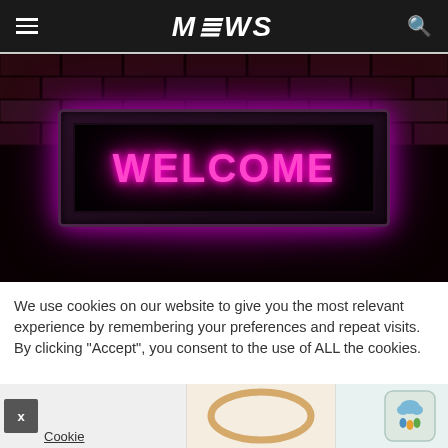MEWS
[Figure (photo): LED sign displaying 'WELCOME' in bright pink/magenta glowing letters on a dark grid panel, mounted against a dark red brick wall with dramatic lighting]
We use cookies on our website to give you the most relevant experience by remembering your preferences and repeat visits. By clicking “Accept”, you consent to the use of ALL the cookies.
Cookie
[Figure (photo): Wooden oval embroidery hoop product image]
[Figure (photo): Decorative pillow with cloud and raindrops illustration]
[Figure (logo): Tiny Land brand logo with tent icon]